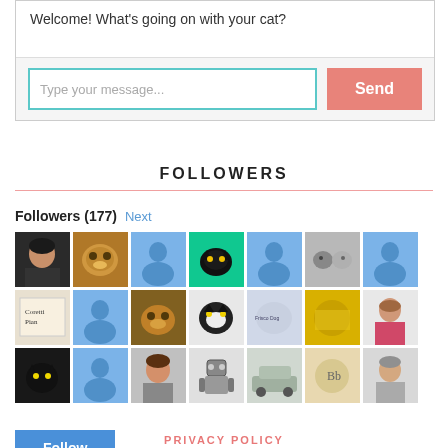Welcome! What's going on with your cat?
Type your message...
Send
FOLLOWERS
Followers (177) Next
[Figure (screenshot): Grid of 21 follower avatars showing profile pictures of cats, people, logos, and placeholder user icons]
Follow
PRIVACY POLICY